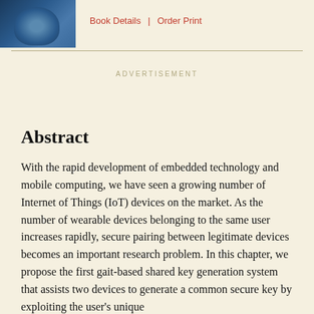[Figure (photo): Partial view of a book cover showing a person, colored in blue tones]
Book Details | Order Print
ADVERTISEMENT
Abstract
With the rapid development of embedded technology and mobile computing, we have seen a growing number of Internet of Things (IoT) devices on the market. As the number of wearable devices belonging to the same user increases rapidly, secure pairing between legitimate devices becomes an important research problem. In this chapter, we propose the first gait-based shared key generation system that assists two devices to generate a common secure key by exploiting the user's unique